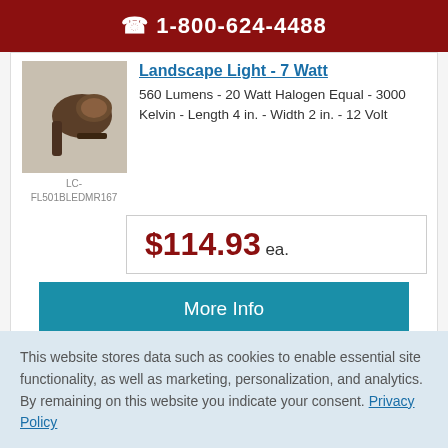1-800-624-4488
Landscape Light - 7 Watt
560 Lumens - 20 Watt Halogen Equal - 3000 Kelvin - Length 4 in. - Width 2 in. - 12 Volt
LC-FL501BLEDMR167
$114.93 ea.
More Info
This website stores data such as cookies to enable essential site functionality, as well as marketing, personalization, and analytics. By remaining on this website you indicate your consent. Privacy Policy